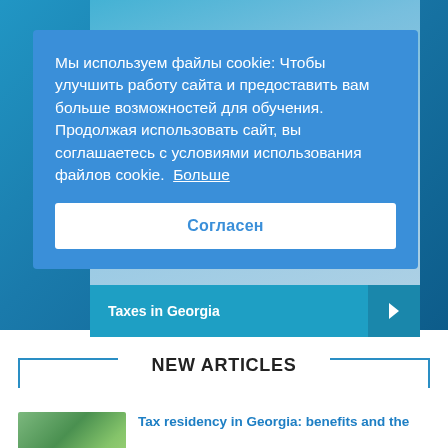[Figure (screenshot): Blue banner background with Georgian flag imagery and teal overlay image]
Мы используем файлы cookie: Чтобы улучшить работу сайта и предоставить вам больше возможностей для обучения. Продолжая использовать сайт, вы соглашаетесь с условиями использования файлов cookie.  Больше
Согласен
Taxes in Georgia
NEW ARTICLES
Tax residency in Georgia: benefits and the